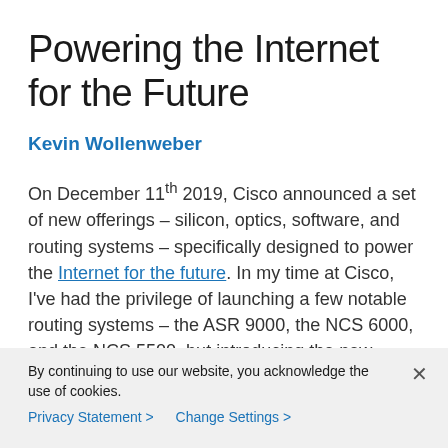Powering the Internet for the Future
Kevin Wollenweber
On December 11th 2019, Cisco announced a set of new offerings – silicon, optics, software, and routing systems – specifically designed to power the Internet for the future. In my time at Cisco, I've had the privilege of launching a few notable routing systems – the ASR 9000, the NCS 6000, and the NCS 5500, but introducing the new Cisco 8000 Series is even more exciting to me as
By continuing to use our website, you acknowledge the use of cookies.
Privacy Statement >   Change Settings >